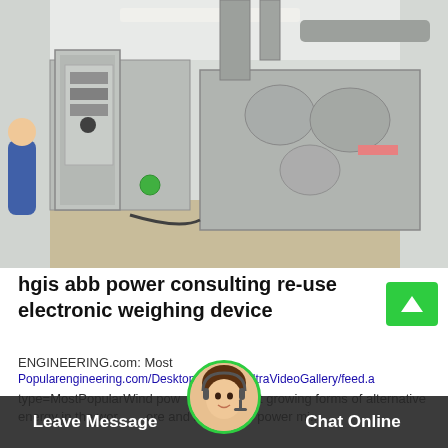[Figure (photo): Industrial electrical control cabinet and power generation machinery in a facility room]
hgis abb power consulting re-use electronic weighing device
ENGINEERING.com: Most
Popularengineering.com/DesktopModules/UltraVideoGallery/feed.a
type=MostPopularWind power of the fastest growing forms of alternative energy in the world. More and more wind power mi...